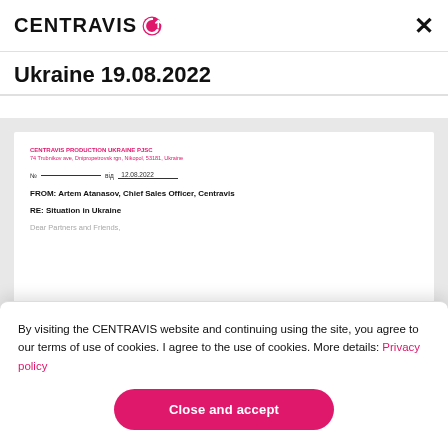CENTRAVIS [logo] ×
Ukraine 19.08.2022
[Figure (screenshot): Partial view of a document from CENTRAVIS PRODUCTION UKRAINE PJSC, 74 Trubnikov ave, Dnipropetrovsk rgn, Nikopol, 53181, Ukraine. Dated 12.08.2022. FROM: Artem Atanasov, Chief Sales Officer, Centravis. RE: Situation in Ukraine.]
By visiting the CENTRAVIS website and continuing using the site, you agree to our terms of use of cookies. I agree to the use of cookies. More details: Privacy policy
Close and accept